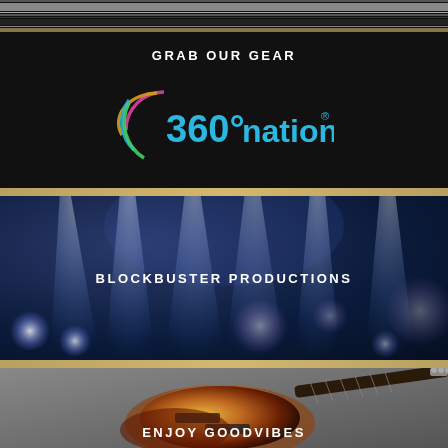[Figure (photo): Dark panel with horizontal metallic lines at top, text 'GRAB OUR GEAR' in white uppercase, and the 360°nation logo in blue/teal with colorful circular arcs on a dark background]
[Figure (photo): Stage lighting scene with blue spotlight beams and bokeh light effects, text 'BLOCKBUSTER PRODUCTIONS' in white uppercase overlaid in center]
[Figure (photo): Electric guitar (sunburst Stratocaster style) on gray background, text 'ENJOY GOODVIBES' in white uppercase overlaid at bottom]